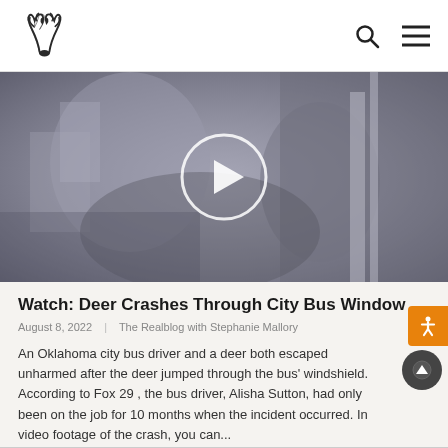Realtree logo, search icon, menu icon
[Figure (screenshot): Grayscale video thumbnail showing a blurry indoor scene (surveillance camera footage) with a circular play button overlay in the center]
Watch: Deer Crashes Through City Bus Window
August 8, 2022  |  The Realblog with Stephanie Mallory
An Oklahoma city bus driver and a deer both escaped unharmed after the deer jumped through the bus' windshield. According to Fox 29 , the bus driver, Alisha Sutton, had only been on the job for 10 months when the incident occurred. In video footage of the crash, you can...